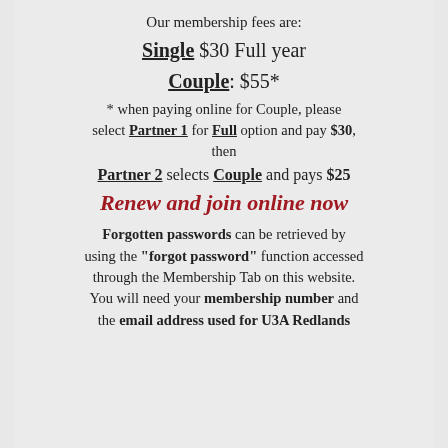Our membership fees are:
Single $30 Full year
Couple: $55*
* when paying online for Couple, please select Partner 1 for Full option and pay $30, then
Partner 2 selects Couple and pays $25
Renew and join online now
Forgotten passwords can be retrieved by using the "forgot password" function accessed through the Membership Tab on this website. You will need your membership number and the email address used for U3A Redlands